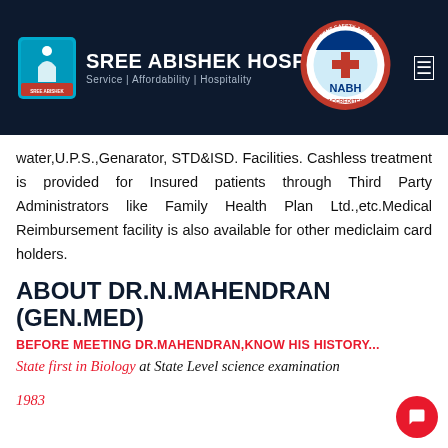SREE ABISHEK HOSPITALS | Service | Affordability | Hospitality
water,U.P.S.,Genarator, STD&ISD. Facilities. Cashless treatment is provided for Insured patients through Third Party Administrators like Family Health Plan Ltd.,etc.Medical Reimbursement facility is also available for other mediclaim card holders.
ABOUT DR.N.MAHENDRAN (GEN.MED)
BEFORE MEETING DR.MAHENDRAN,KNOW HIS HISTORY...
State first in Biology at State Level science examination 1983